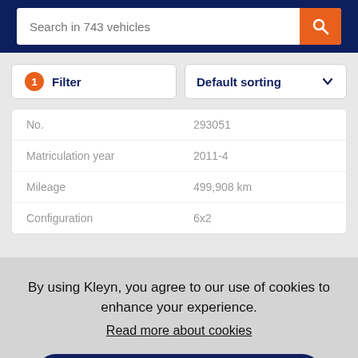Search in 743 vehicles
1 Filter | Default sorting
|  |  |
| --- | --- |
| No. | 293051 |
| Matriculation year | 2011-4 |
| Mileage | 499,908 km |
| Configuration | 6x2 |
By using Kleyn, you agree to our use of cookies to enhance your experience. Read more about cookies
Got it!
Stock   Contact   Menu